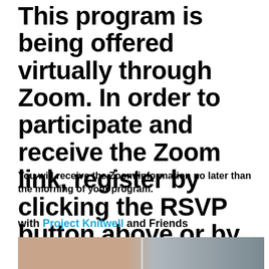This program is being offered virtually through Zoom. In order to participate and receive the Zoom link, register by clicking the RSVP button above or by emailing programs@smithcenter.org
You will receive the Zoom information no later than the morning of your program.
with Project Knitwell and Friends
[Figure (photo): Photo showing close-up of knitting/fabric textures in pink/peach tones on the left and gray ribbed fabric on the right]